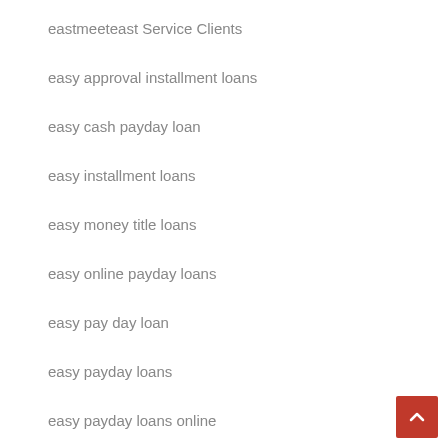eastmeeteast Service Clients
easy approval installment loans
easy cash payday loan
easy installment loans
easy money title loans
easy online payday loans
easy pay day loan
easy payday loans
easy payday loans online
easy title loans online
easysex reviews
EbonyFlirt visitors
ebonyflirt-inceleme visitors